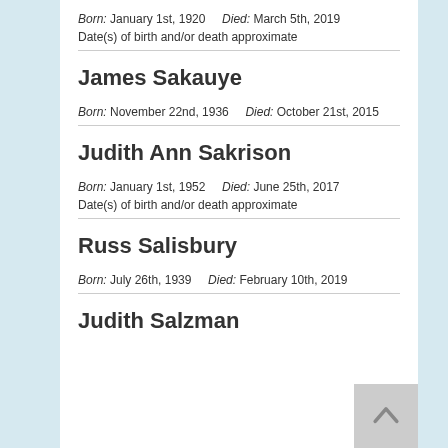Born: January 1st, 1920    Died: March 5th, 2019
Date(s) of birth and/or death approximate
James Sakauye
Born: November 22nd, 1936    Died: October 21st, 2015
Judith Ann Sakrison
Born: January 1st, 1952    Died: June 25th, 2017
Date(s) of birth and/or death approximate
Russ Salisbury
Born: July 26th, 1939    Died: February 10th, 2019
Judith Salzman